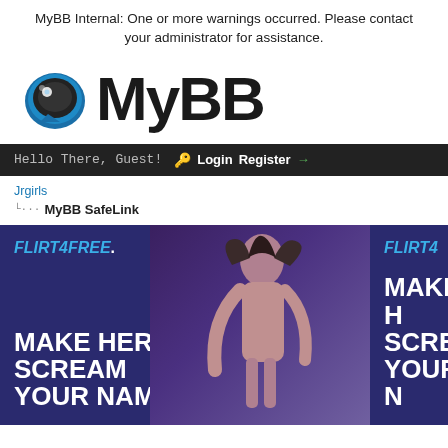MyBB Internal: One or more warnings occurred. Please contact your administrator for assistance.
[Figure (logo): MyBB logo with circular chat bubble icon and bold MyBB text]
Hello There, Guest! Login Register
Jrgirls
MyBB SafeLink
[Figure (photo): Two Flirt4Free advertisement banners side by side with text MAKE HER SCREAM YOUR NAME on purple background]